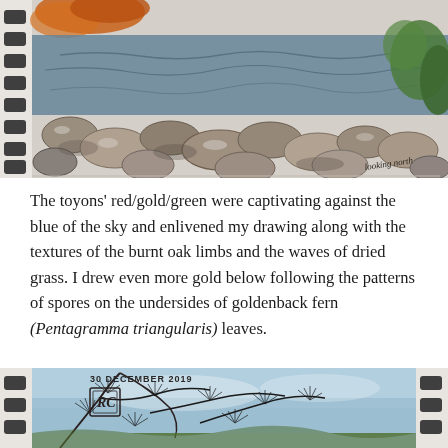[Figure (illustration): Watercolor and ink sketch of a rocky creek bed with stones and water, labeled 'looking north' in the lower right corner. Spiral binding visible on left edge. Orange foliage at top left, green foliage at right.]
The toyons' red/gold/green were captivating against the blue of the sky and enlivened my drawing along with the textures of the burnt oak limbs and the waves of dried grass. I drew even more gold below following the patterns of spores on the undersides of goldenback fern (Pentagramma triangularis) leaves.
[Figure (illustration): Watercolor and ink sketch dated '30 DECEMBER 2019' showing pine or fir tree branches with a blue sky background. An artist monogram/stamp 'RC' in a box is visible at left. Spiral binding visible on both left and right edges.]